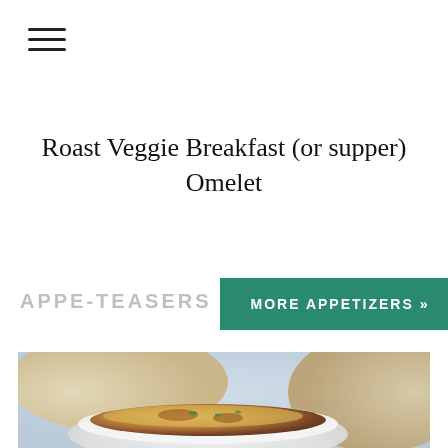[Figure (other): Hamburger menu icon (three horizontal lines)]
Roast Veggie Breakfast (or supper) Omelet
APPE-TEASERS
MORE APPETIZERS »
[Figure (photo): Close-up photo of a cheesy appetizer dish in a white bowl with bread in the background]